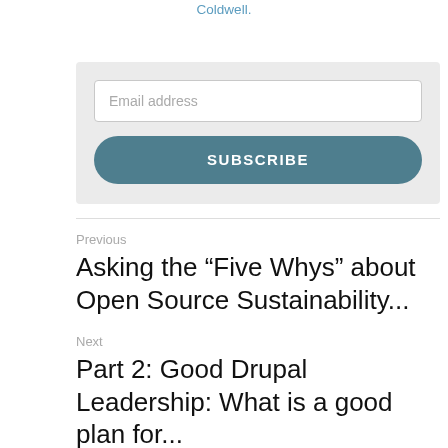Coldwell.
[Figure (other): Email subscription form with an email address input field and a SUBSCRIBE button on a light grey background]
Previous
Asking the “Five Whys” about Open Source Sustainability...
Next
Part 2: Good Drupal Leadership: What is a good plan for...